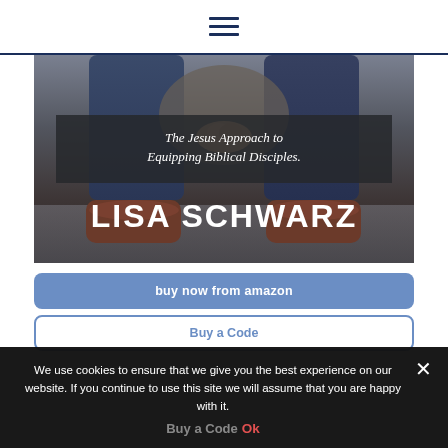[Figure (screenshot): Website navigation bar with hamburger menu icon (three horizontal lines) in navy blue, white background, with a navy blue horizontal rule below]
[Figure (photo): Book cover or website hero image showing a person sitting with hands clasped, wearing jeans and brown boots. Dark overlay text box reads 'The Jesus Approach to Equipping Biblical Disciples.' in italic white, and large bold white text 'LISA SCHWARZ' at bottom.]
buy now from amazon
Buy a Code
We use cookies to ensure that we give you the best experience on our website. If you continue to use this site we will assume that you are happy with it.
Ok